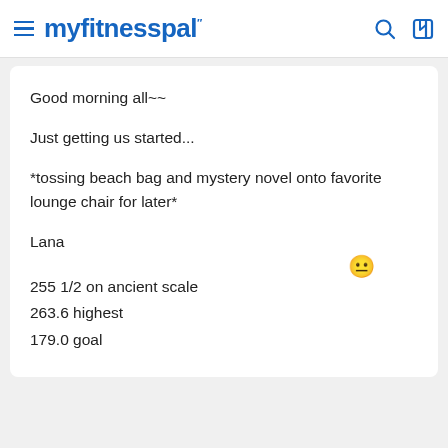myfitnesspal
Good morning all~~
Just getting us started...
*tossing beach bag and mystery novel onto favorite lounge chair for later*
Lana
255 1/2 on ancient scale
263.6 highest
179.0 goal